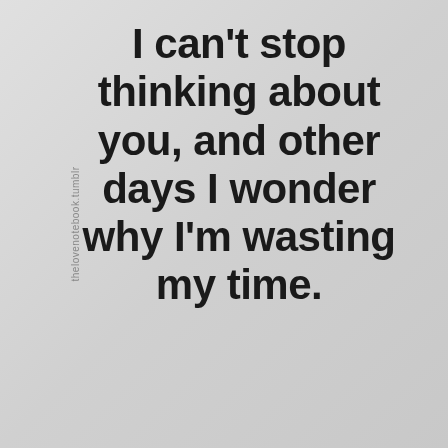thelovenotebook.tumblr
I can't stop thinking about you, and other days I wonder why I'm wasting my time.